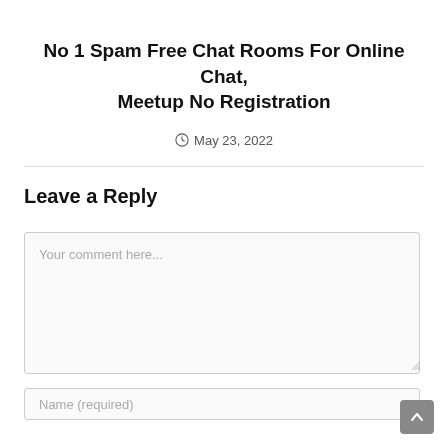No 1 Spam Free Chat Rooms For Online Chat, Meetup No Registration
May 23, 2022
Leave a Reply
Your comment here...
Name (required)